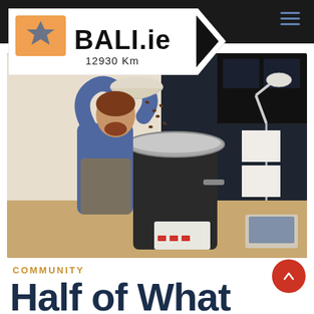Read More >
[Figure (logo): BALI.ie logo with orange flag icon, arrow shape, and text '12930 Km']
[Figure (photo): Man pouring coffee beans into a roasting machine in a workshop setting with desk lamp, papers, laptop, and equipment visible]
COMMUNITY
Half of What